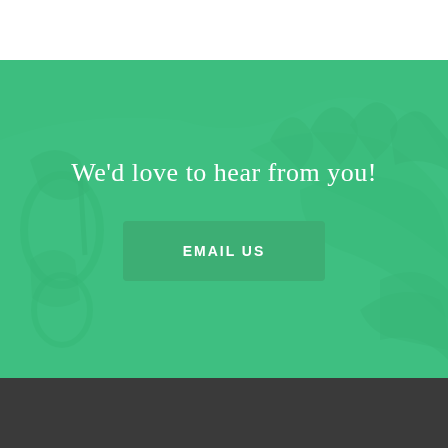We'd love to hear from you!
EMAIL US